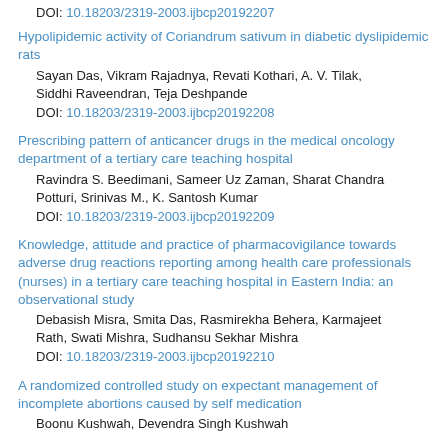DOI: 10.18203/2319-2003.ijbcp20192207
Hypolipidemic activity of Coriandrum sativum in diabetic dyslipidemic rats
Sayan Das, Vikram Rajadnya, Revati Kothari, A. V. Tilak, Siddhi Raveendran, Teja Deshpande
DOI: 10.18203/2319-2003.ijbcp20192208
Prescribing pattern of anticancer drugs in the medical oncology department of a tertiary care teaching hospital
Ravindra S. Beedimani, Sameer Uz Zaman, Sharat Chandra Potturi, Srinivas M., K. Santosh Kumar
DOI: 10.18203/2319-2003.ijbcp20192209
Knowledge, attitude and practice of pharmacovigilance towards adverse drug reactions reporting among health care professionals (nurses) in a tertiary care teaching hospital in Eastern India: an observational study
Debasish Misra, Smita Das, Rasmirekha Behera, Karmajeet Rath, Swati Mishra, Sudhansu Sekhar Mishra
DOI: 10.18203/2319-2003.ijbcp20192210
A randomized controlled study on expectant management of incomplete abortions caused by self medication
Boonu Kushwah, Devendra Singh Kushwah